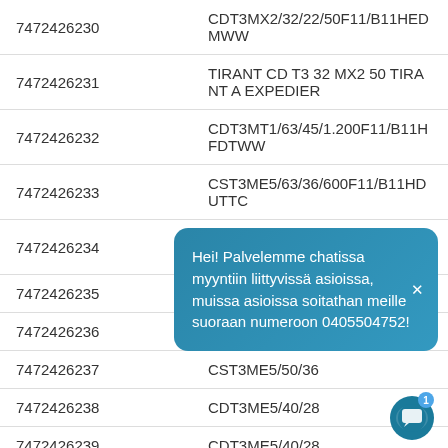| ID | Code |
| --- | --- |
| 7472426230 | CDT3MX2/32/22/50F11/B11HEDMWW |
| 7472426231 | TIRANT CD T3 32 MX2 50 TIRANT A EXPEDIER |
| 7472426232 | CDT3MT1/63/45/1.200F11/B11HFDTWW |
| 7472426233 | CST3ME5/63/36/600F11/B11HDUTTC |
| 7472426234 | CST3ME5/50/36/100F11/B11HHUTTC |
| 7472426235 | CDT3ME5/50/36… |
| 7472426236 | CST3ME5/40/28… |
| 7472426237 | CST3ME5/50/36… |
| 7472426238 | CDT3ME5/40/28… |
| 7472426239 | CDT3ME5/40/28… |
| 7472426240 | CST3ME5/40/28/350F11/B11HHUTTC |
| 7472426241 | CDT3ME5/40/28/300F11/B11HHUTWW |
Hei! Palvelemme chatissa myyntiin liittyvissä asioissa, muissa asioissa soitathan meille suoraan numeroon 0405504752!